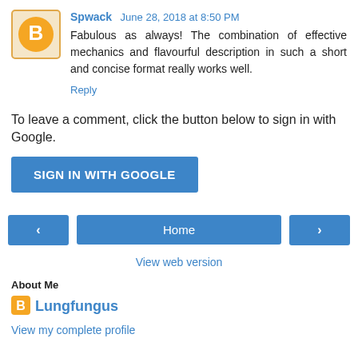[Figure (illustration): Blogger user avatar icon — orange circle with white 'B' letter, inside a light orange square frame with rounded corners]
Spwack June 28, 2018 at 8:50 PM
Fabulous as always! The combination of effective mechanics and flavourful description in such a short and concise format really works well.
Reply
To leave a comment, click the button below to sign in with Google.
SIGN IN WITH GOOGLE
‹
Home
›
View web version
About Me
[Figure (logo): Blogger 'B' logo icon in orange square]
Lungfungus
View my complete profile